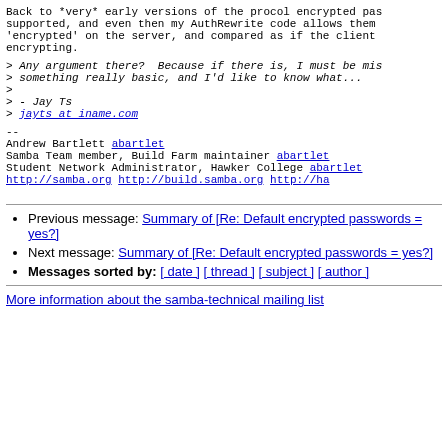Back to *very* early versions of the procol encrypted pas supported, and even then my AuthRewrite code allows them 'encrypted' on the server, and compared as if the client encrypting.
> Any argument there?  Because if there is, I must be mis
> something really basic, and I'd like to know what...
>
> - Jay Ts
> jayts at iname.com
--
Andrew Bartlett                                     abartlet
Samba Team member, Build Farm maintainer            abartlet
Student Network Administrator, Hawker College       abartlet
http://samba.org     http://build.samba.org          http://ha
Previous message: Summary of [Re: Default encrypted passwords = yes?]
Next message: Summary of [Re: Default encrypted passwords = yes?]
Messages sorted by: [ date ] [ thread ] [ subject ] [ author ]
More information about the samba-technical mailing list